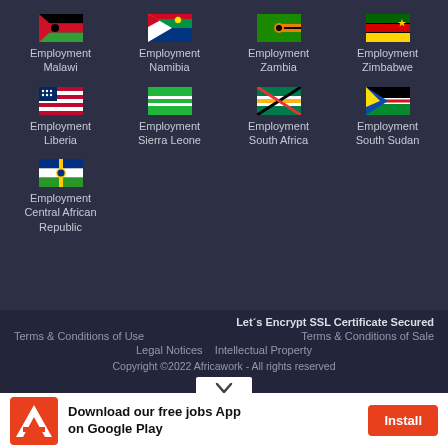[Figure (illustration): Flag grid of African country employment links: Malawi, Namibia, Zambia, Zimbabwe, Liberia, Sierra Leone, South Africa, South Sudan, Central African Republic]
Employment Malawi
Employment Namibia
Employment Zambia
Employment Zimbabwe
Employment Liberia
Employment Sierra Leone
Employment South Africa
Employment South Sudan
Employment Central African Republic
Let´s Encrypt SSL Certificate Secured
Terms & Conditions of Use
Terms & Conditions of Sale
Legal Notices    Intellectual Property
Copyright ©2022 Africawork - All rights reserved
Download our free jobs App on Google Play